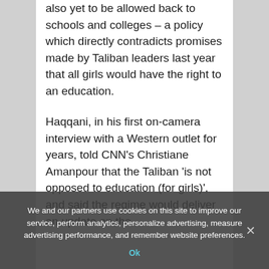also yet to be allowed back to schools and colleges – a policy which directly contradicts promises made by Taliban leaders last year that all girls would have the right to an education.
Haqqani, in his first on-camera interview with a Western outlet for years, told CNN's Christiane Amanpour that the Taliban 'is not opposed to education (for girls)', and said the regime would deliver an update on the
We and our partners use cookies on this site to improve our service, perform analytics, personalize advertising, measure advertising performance, and remember website preferences.
Ok